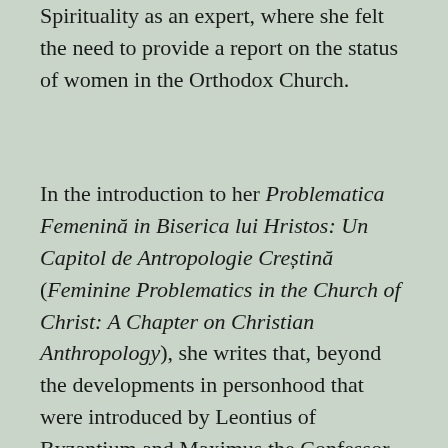Spirituality as an expert, where she felt the need to provide a report on the status of women in the Orthodox Church.
In the introduction to her Problematica Femenină in Biserica lui Hristos: Un Capitol de Antropologie Creștină (Feminine Problematics in the Church of Christ: A Chapter on Christian Anthropology), she writes that, beyond the developments in personhood that were introduced by Leontius of Byzantium and Maximus the Confessor, Orthodox